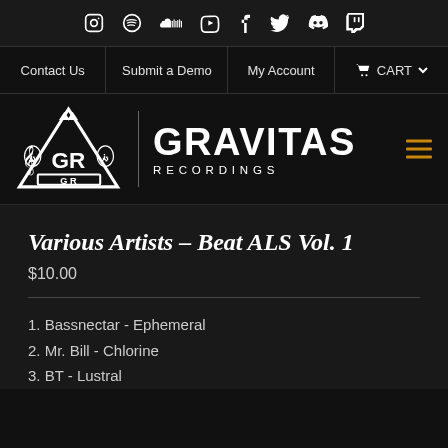Social media icons: Instagram, Spotify, SoundCloud, YouTube, Facebook, Twitter, Discord, Twitch
Contact Us | Submit a Demo | My Account | CART
[Figure (logo): Gravitas Recordings logo with GR crest and lions, text GRAVITAS RECORDINGS]
Various Artists – Beat ALS Vol. 1
$10.00
1. Bassnectar - Ephemeral
2. Mr. Bill - Chlorine
3. BT - Lustral